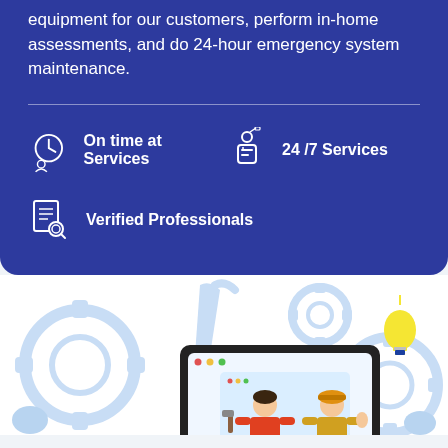equipment for our customers, perform in-home assessments, and do 24-hour emergency system maintenance.
On time at Services
24 /7 Services
Verified Professionals
[Figure (illustration): Illustration of two workers/technicians on a computer screen with tools, gears, and a light bulb in the background on a white section]